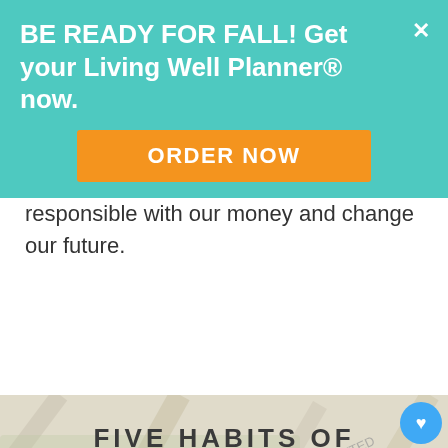[Figure (screenshot): Teal banner advertisement: 'BE READY FOR FALL! Get your Living Well Planner® now.' with orange ORDER NOW button and X close button]
responsible with our money and change our future.
[Figure (infographic): Infographic titled 'FIVE HABITS OF budget-savvy PEOPLE' with background of US dollar bills and financial documents. Has heart/save button showing 47.7K saves, share button, and 'WHAT'S NEXT → Break Free From Your...' widget.]